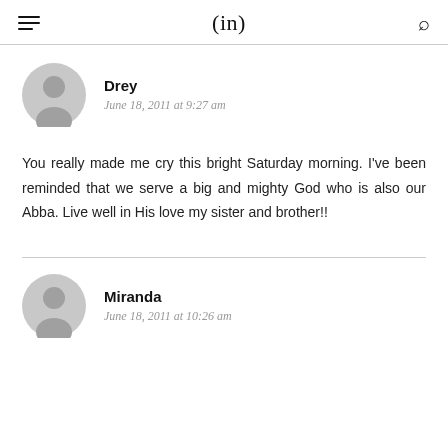(in)
Drey
June 18, 2011 at 9:27 am
You really made me cry this bright Saturday morning. I've been reminded that we serve a big and mighty God who is also our Abba. Live well in His love my sister and brother!!
Miranda
June 18, 2011 at 10:26 am